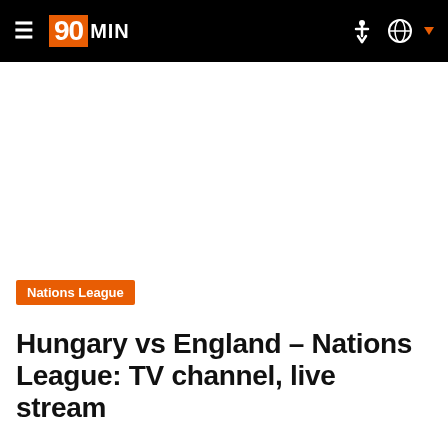90MIN
[Figure (other): Large white/blank advertisement or image placeholder area below the navigation bar]
Nations League
Hungary vs England - Nations League: TV channel, live stream